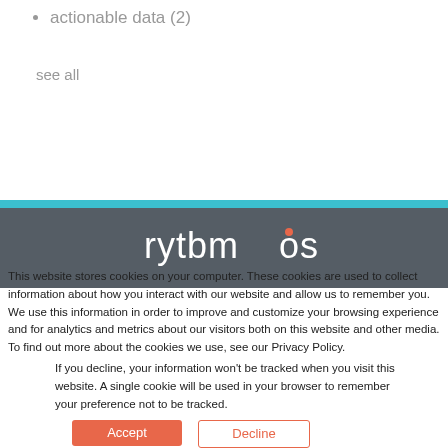actionable data (2)
see all
[Figure (logo): Rythmos logo in white text on dark gray background]
This website stores cookies on your computer. These cookies are used to collect information about how you interact with our website and allow us to remember you. We use this information in order to improve and customize your browsing experience and for analytics and metrics about our visitors both on this website and other media. To find out more about the cookies we use, see our Privacy Policy.
If you decline, your information won't be tracked when you visit this website. A single cookie will be used in your browser to remember your preference not to be tracked.
Accept
Decline